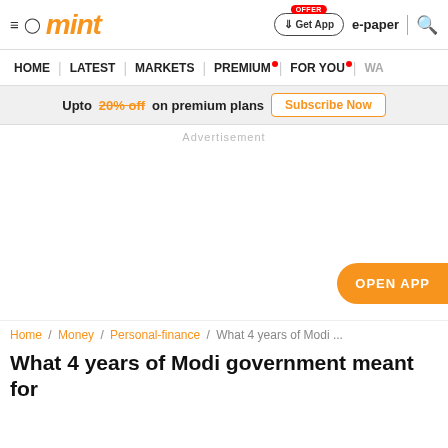mint — Get App | e-paper | search
HOME | LATEST | MARKETS | PREMIUM | FOR YOU | WA...
Upto 20% off on premium plans  Subscribe Now
Advertisement
OPEN APP
Home / Money / Personal-finance / What 4 years of Modi ...
What 4 years of Modi government meant for